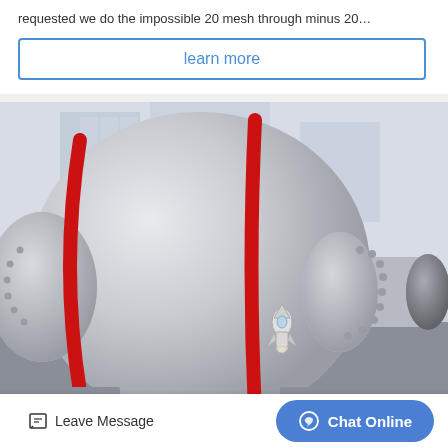requested we do the impossible 20 mesh through minus 20…
learn more
[Figure (photo): Large industrial ball mill with silver/grey cylindrical body and two red stripe rings, photographed in a factory setting. The mill has a smaller cylindrical outlet on the right side with bolt flanges.]
Leave Message
Chat Online